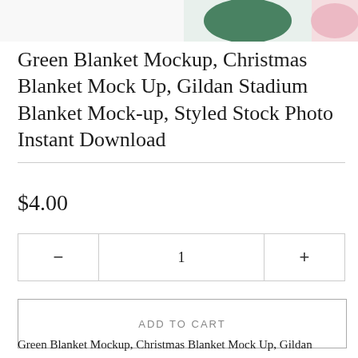[Figure (photo): Partial view of product mockup images at top of page — green blanket and pink/floral item partially visible]
Green Blanket Mockup, Christmas Blanket Mock Up, Gildan Stadium Blanket Mock-up, Styled Stock Photo Instant Download
$4.00
1
ADD TO CART
Green Blanket Mockup, Christmas Blanket Mock Up, Gildan